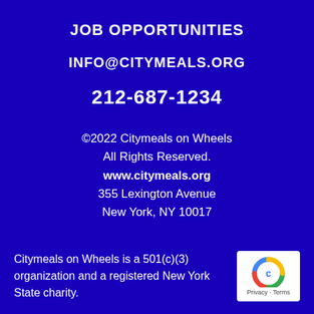JOB OPPORTUNITIES
INFO@CITYMEALS.ORG
212-687-1234
©2022 Citymeals on Wheels
All Rights Reserved.
www.citymeals.org
355 Lexington Avenue
New York, NY 10017
Citymeals on Wheels is a 501(c)(3) organization and a registered New York State charity.
[Figure (logo): Google privacy icon with 'Privacy - Terms' label below]